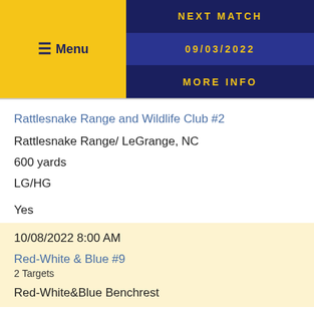≡ Menu | NEXT MATCH | 09/03/2022 | MORE INFO
Rattlesnake Range and Wildlife Club #2
Rattlesnake Range/ LeGrange, NC
600 yards
LG/HG
Yes
10/08/2022 8:00 AM
Red-White & Blue #9
2 Targets
Red-White&Blue Benchrest